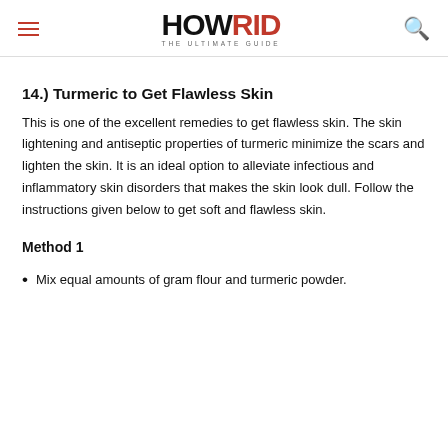HOWRID THE ULTIMATE GUIDE
14.) Turmeric to Get Flawless Skin
This is one of the excellent remedies to get flawless skin. The skin lightening and antiseptic properties of turmeric minimize the scars and lighten the skin. It is an ideal option to alleviate infectious and inflammatory skin disorders that makes the skin look dull. Follow the instructions given below to get soft and flawless skin.
Method 1
Mix equal amounts of gram flour and turmeric powder.